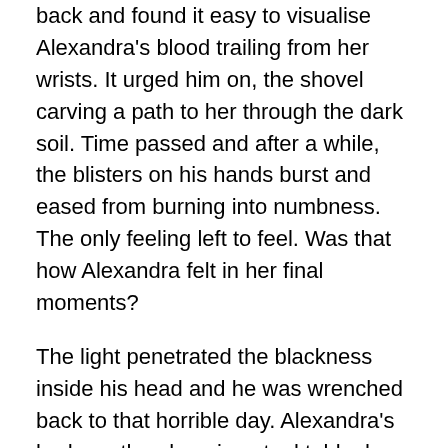back and found it easy to visualise Alexandra's blood trailing from her wrists. It urged him on, the shovel carving a path to her through the dark soil. Time passed and after a while, the blisters on his hands burst and eased from burning into numbness. The only feeling left to feel. Was that how Alexandra felt in her final moments?
The light penetrated the blackness inside his head and he was wrenched back to that horrible day. Alexandra's body on the gleaming steel table, her skin like fresh snow. He recalled hearing the detective's voice, explaining that she was one of many to die the same way, the only clue being that solitary word – HARVEST. But how could carving a pumpkin have led to suicide?
Another flash left his head swimming, but soon he felt himself sinking inch by inch into the ground, edging